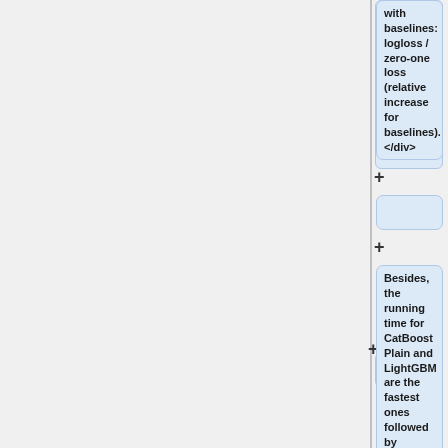with baselines: logloss / zero-one loss (relative increase for baselines). </div>
Besides, the running time for CatBoost Plain and LightGBM are the fastest ones followed by Ordered mode, which is about 1.7 times slower.
Comparison